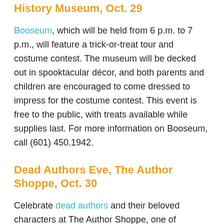History Museum, Oct. 29
Booseum, which will be held from 6 p.m. to 7 p.m., will feature a trick-or-treat tour and costume contest. The museum will be decked out in spooktacular décor, and both parents and children are encouraged to come dressed to impress for the costume contest. This event is free to the public, with treats available while supplies last. For more information on Booseum, call (601) 450.1942.
Dead Authors Eve, The Author Shoppe, Oct. 30
Celebrate dead authors and their beloved characters at The Author Shoppe, one of Downtown's local bookstores. The best dead...